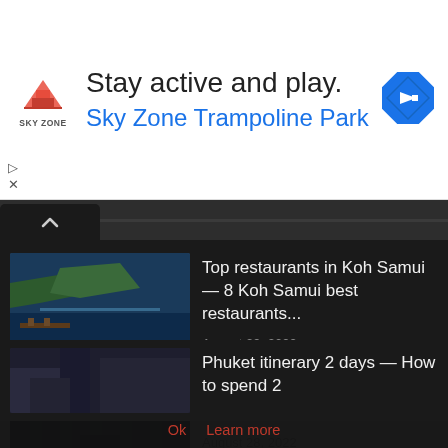[Figure (infographic): Sky Zone Trampoline Park advertisement banner with logo, tagline 'Stay active and play.' and Google Maps navigation icon]
Top restaurants in Koh Samui — 8 Koh Samui best restaurants...
August 29, 2022
Where to stay in Melaka? — 10 Top luxury hotels in...
August 28, 2022
Phuket itinerary 2 days — How to spend 2
By using this service and related content, you agree to the use of cookies for analytics, personalised content and ads.
Ok   Learn more